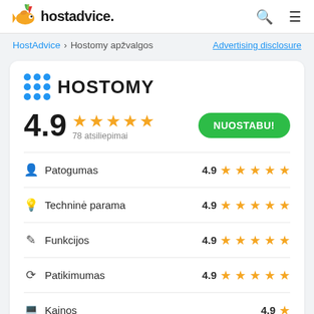[Figure (logo): HostAdvice logo with fish mascot and bold text 'hostadvice.']
HostAdvice > Hostomy apžvalgos
Advertising disclosure
[Figure (logo): Hostomy logo with blue 3x3 dot grid and bold text HOSTOMY]
4.9 ★★★★★ 78 atsiliepimai NUOSTABU!
Patogumas 4.9 ★★★★★
Techninė parama 4.9 ★★★★★
Funkcijos 4.9 ★★★★★
Patikimumas 4.9 ★★★★★
Kainos 4.9 ★